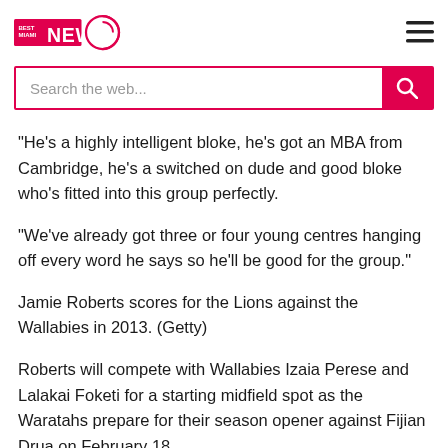Best Miami News
"He's a highly intelligent bloke, he's got an MBA from Cambridge, he's a switched on dude and good bloke who's fitted into this group perfectly.
"We've already got three or four young centres hanging off every word he says so he'll be good for the group."
Jamie Roberts scores for the Lions against the Wallabies in 2013. (Getty)
Roberts will compete with Wallabies Izaia Perese and Lalakai Foketi for a starting midfield spot as the Waratahs prepare for their season opener against Fijian Drua on February 18.